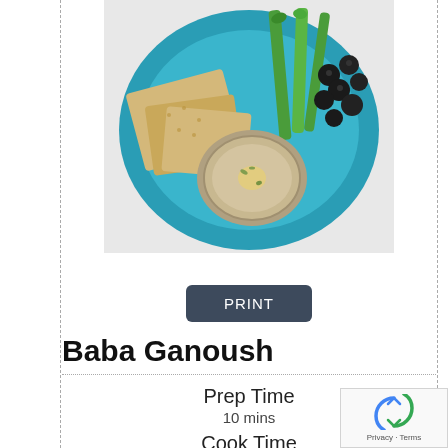[Figure (photo): Overhead view of a blue plate with hummus/baba ganoush dip in a bowl, pita crackers, celery sticks, and black olives]
PRINT
Baba Ganoush
Prep Time
10 mins
Cook Time
40 mins
Total Time
50 mins
Course: Side Dish, Snack